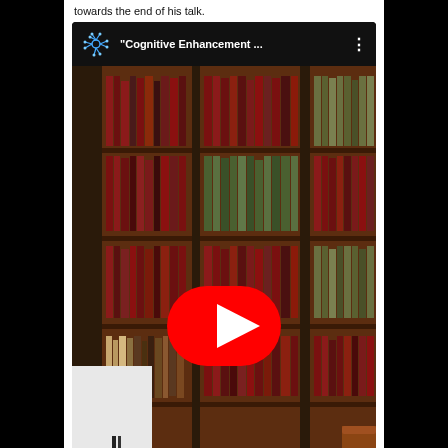towards the end of his talk.
[Figure (screenshot): YouTube video embed thumbnail showing a man in a white shirt standing in front of a large wooden bookshelf filled with red and brown bound books. A red YouTube play button is centered on the thumbnail. The video title bar at top shows a neuron icon and the title '"Cognitive Enhancement ..."' with a three-dot menu icon.]